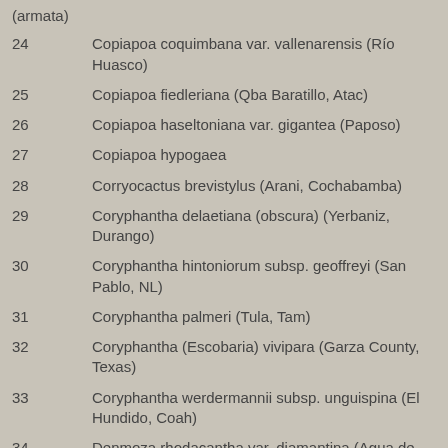(armata)
24    Copiapoa coquimbana var. vallenarensis (Río Huasco)
25    Copiapoa fiedleriana (Qba Baratillo, Atac)
26    Copiapoa haseltoniana var. gigantea (Paposo)
27    Copiapoa hypogaea
28    Corryocactus brevistylus (Arani, Cochabamba)
29    Coryphantha delaetiana (obscura) (Yerbaniz, Durango)
30    Coryphantha hintoniorum subsp. geoffreyi (San Pablo, NL)
31    Coryphantha palmeri (Tula, Tam)
32    Coryphantha (Escobaria) vivipara (Garza County, Texas)
33    Coryphantha werdermannii subsp. unguispina (El Hundido, Coah)
34    Denmoza rhodacantha var. diamantina (Agua de Torro, Mend)
35    Echinocactus grusonii subsp. zacatecasensis (San Rafael, Zac)